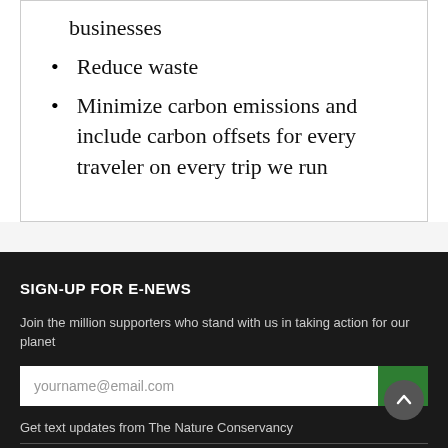businesses
Reduce waste
Minimize carbon emissions and include carbon offsets for every traveler on every trip we run
SIGN-UP FOR E-NEWS
Join the million supporters who stand with us in taking action for our planet
yourname@email.com
Get text updates from The Nature Conservancy